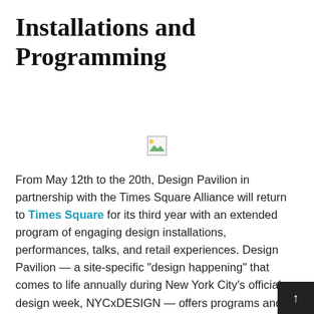Installations and Programming
[Figure (illustration): Broken/missing image placeholder icon]
From May 12th to the 20th, Design Pavilion in partnership with the Times Square Alliance will return to Times Square for its third year with an extended program of engaging design installations, performances, talks, and retail experiences. Design Pavilion — a site-specific "design happening" that comes to life annually during New York City's official design week, NYCxDESIGN — offers programs and brings together curated installations from leading architects, designers, artists, and choreographers, which will be on display throughout plazas.